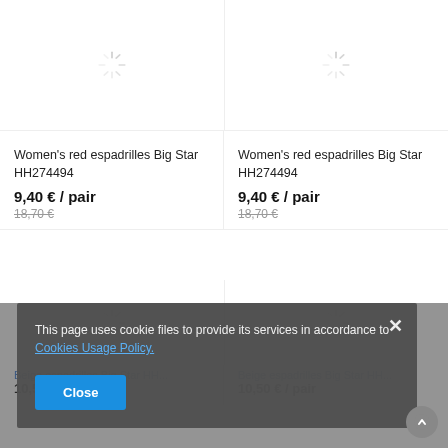[Figure (photo): Loading spinner placeholder for product image (top left)]
Women's red espadrilles Big Star HH274494
9,40 € / pair
18,70 €
[Figure (photo): Loading spinner placeholder for product image (top right)]
Women's red espadrilles Big Star HH274494
9,40 € / pair
18,70 €
[Figure (photo): Loading spinner placeholder for product image (bottom left)]
[Figure (photo): Loading spinner placeholder for product image (bottom right)]
This page uses cookie files to provide its services in accordance to Cookies Usage Policy.
Close
Beige espadrilles Big Star HH...
10,50 € / pair
Beige espadrilles Big Star HH...
10,50 € / pair